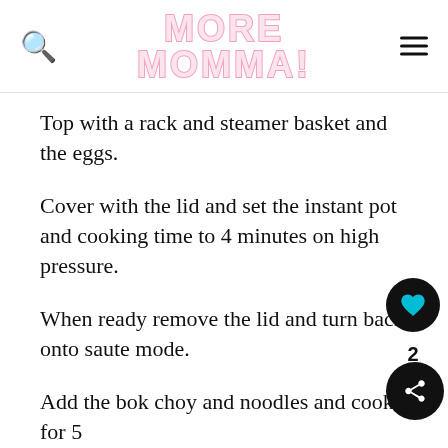MORE MOMMA!
Top with a rack and steamer basket and the eggs.
Cover with the lid and set the instant pot and cooking time to 4 minutes on high pressure.
When ready remove the lid and turn back onto saute mode.
Add the bok choy and noodles and cook for 5